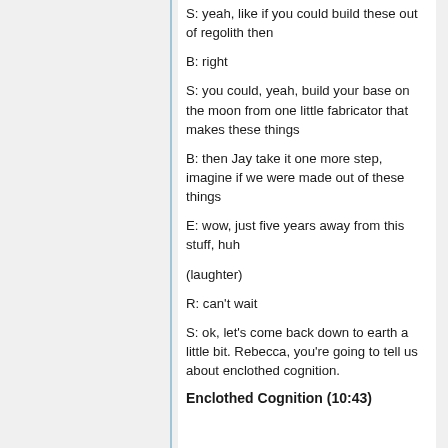S: yeah, like if you could build these out of regolith then
B: right
S: you could, yeah, build your base on the moon from one little fabricator that makes these things
B: then Jay take it one more step, imagine if we were made out of these things
E: wow, just five years away from this stuff, huh
(laughter)
R: can't wait
S: ok, let's come back down to earth a little bit. Rebecca, you're going to tell us about enclothed cognition.
Enclothed Cognition (10:43)